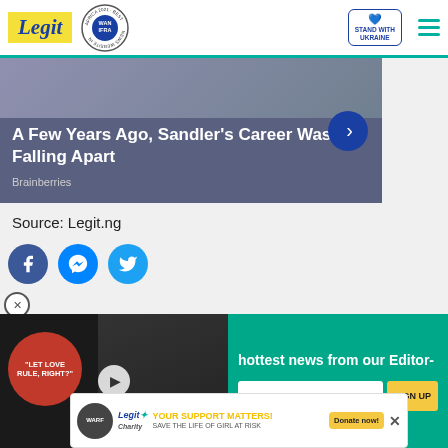[Figure (logo): Legit.ng website header with Legit logo, WAN-IFRA 2021 Best News Website in Africa badge, Stand with Ukraine button, and hamburger menu]
[Figure (screenshot): Brainberries ad: 'A Few Years Ago, Sandler's Career Was Falling Apart' with dark blue background and right arrow button]
Source: Legit.ng
[Figure (infographic): Social sharing icons: Facebook, Messenger, Twitter]
[Figure (screenshot): Video player showing 'LET LOVE RULE, RIGHT?' with play button overlay]
[Figure (infographic): Newsletter signup: 'hottest news from our Editor-' with email input and SIGN UP button on teal background]
[Figure (infographic): Legit Charity ad: YOUR SUPPORT MATTERS! SAVE THE LIFE OF GIRL AT RISK with Donate now! button]